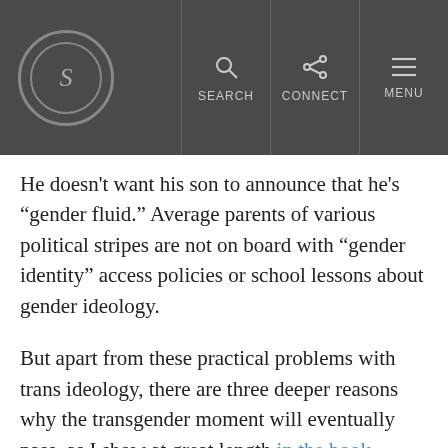S | SEARCH | CONNECT | MENU
He doesn't want his son to announce that he's “gender fluid.” Average parents of various political stripes are not on board with “gender identity” access policies or school lessons about gender ideology.
But apart from these practical problems with trans ideology, there are three deeper reasons why the transgender moment will eventually pass, as I show at great length in the book.
First, they are always changing their creed and expanding their demands. Yesterday’s mandatory vocabulary will become tomorrow’s epithets. Yesterday’s enlightenment will be tomorrow’s benighted bigotry. Yesterday’s requirements of